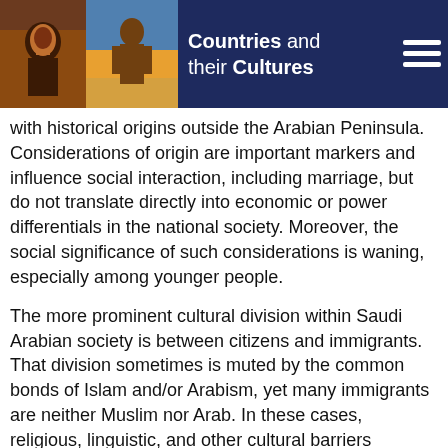Countries and their Cultures
with historical origins outside the Arabian Peninsula. Considerations of origin are important markers and influence social interaction, including marriage, but do not translate directly into economic or power differentials in the national society. Moreover, the social significance of such considerations is waning, especially among younger people.
The more prominent cultural division within Saudi Arabian society is between citizens and immigrants. That division sometimes is muted by the common bonds of Islam and/or Arabism, yet many immigrants are neither Muslim nor Arab. In these cases, religious, linguistic, and other cultural barriers accentuate the social cleavage between the local person and the foreigner. Moreover, class divisions separate citizens from the many immigrants who are low-skilled workers. The immigrants come temporarily and mostly as individuals without families. They are thus in the society but not of it, and little effort is made to assimilate them.